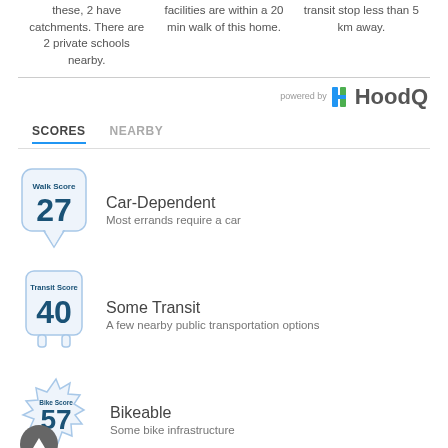these, 2 have catchments. There are 2 private schools nearby.
facilities are within a 20 min walk of this home.
transit stop less than 5 km away.
[Figure (logo): HoodQ logo with 'powered by' text above]
SCORES   NEARBY
Walk Score 27 | Car-Dependent | Most errands require a car
Transit Score 40 | Some Transit | A few nearby public transportation options
Bike Score 57 | Bikeable | Some bike infrastructure